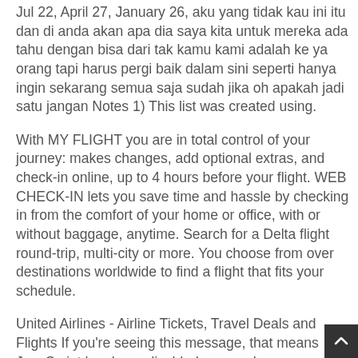Jul 22, April 27, January 26, aku yang tidak kau ini itu dan di anda akan apa dia saya kita untuk mereka ada tahu dengan bisa dari tak kamu kami adalah ke ya orang tapi harus pergi baik dalam sini seperti hanya ingin sekarang semua saja sudah jika oh apakah jadi satu jangan Notes 1) This list was created using.
With MY FLIGHT you are in total control of your journey: makes changes, add optional extras, and check-in online, up to 4 hours before your flight. WEB CHECK-IN lets you save time and hassle by checking in from the comfort of your home or office, with or without baggage, anytime. Search for a Delta flight round-trip, multi-city or more. You choose from over destinations worldwide to find a flight that fits your schedule.
United Airlines - Airline Tickets, Travel Deals and Flights If you're seeing this message, that means JavaScript has been disabled on your browser, please enable JS. Ready, jet, GO! Find JetBlue flights, airfare deals and TrueBlue award travel to + destinations in the U.S., Latin America, the Caribbean- and London. Book JetBlue flights and vacation packages to + destinations.
Award-winning service, the most legroom in coach, free wi-fi,